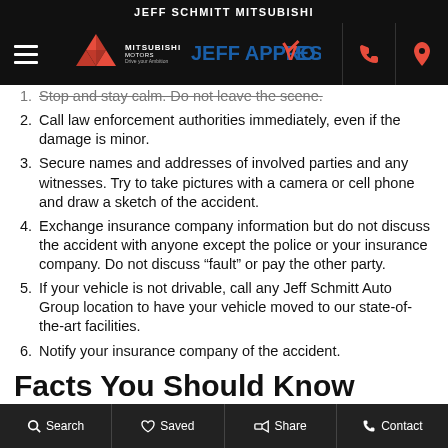JEFF SCHMITT MITSUBISHI
Stop and stay calm. Do not leave the scene.
Call law enforcement authorities immediately, even if the damage is minor.
Secure names and addresses of involved parties and any witnesses. Try to take pictures with a camera or cell phone and draw a sketch of the accident.
Exchange insurance company information but do not discuss the accident with anyone except the police or your insurance company. Do not discuss "fault" or pay the other party.
If your vehicle is not drivable, call any Jeff Schmitt Auto Group location to have your vehicle moved to our state-of-the-art facilities.
Notify your insurance company of the accident.
Facts You Should Know
Search   Saved   Share   Contact